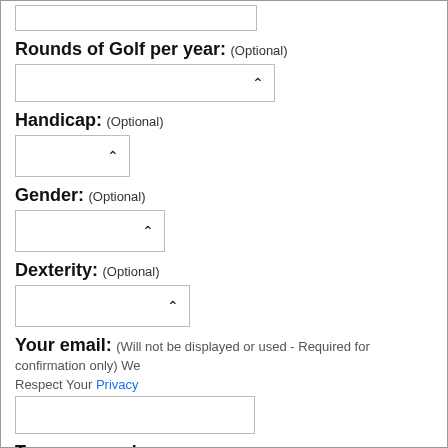Rounds of Golf per year: (Optional)
Handicap: (Optional)
Gender: (Optional)
Dexterity: (Optional)
Your email: (Will not be displayed or used - Required for confirmation only) We Respect Your Privacy
Type your review: